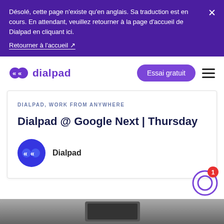Désolé, cette page n'existe qu'en anglais. Sa traduction est en cours. En attendant, veuillez retourner à la page d'accueil de Dialpad en cliquant ici.
Retourner à l'accueil ↗
[Figure (logo): Dialpad logo with icon and text]
Essai gratuit
DIALPAD, WORK FROM ANYWHERE
Dialpad @ Google Next | Thursday
Dialpad
[Figure (illustration): Chat widget with badge showing 1 notification]
[Figure (photo): Bottom image strip, partial photo]